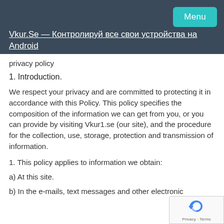Vkur.Se — Контролируй все свои устройства на Android
privacy policy
1. Introduction.
We respect your privacy and are committed to protecting it in accordance with this Policy. This policy specifies the composition of the information we can get from you, or you can provide by visiting Vkur1.se (our site), and the procedure for the collection, use, storage, protection and transmission of information.
1. This policy applies to information we obtain:
a) At this site.
b) In the e-mails, text messages and other electronic